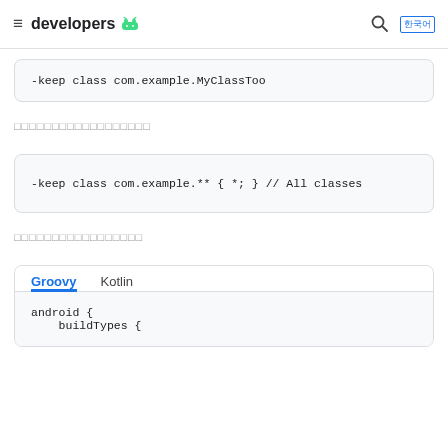≡ developers 🤖  🔍 [lang]
-keep class com.example.MyClassToo
□□□□□□□□□□□□□□□□□□
-keep class com.example.** { *; } // All classes
□□□□□□□□□□□□□□□□□
Groovy  Kotlin
android {
    buildTypes {